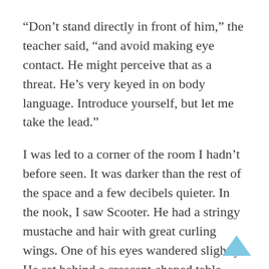“Don’t stand directly in front of him,” the teacher said, “and avoid making eye contact. He might perceive that as a threat. He’s very keyed in on body language. Introduce yourself, but let me take the lead.”
I was led to a corner of the room I hadn’t before seen. It was darker than the rest of the space and a few decibels quieter. In the nook, I saw Scooter. He had a stringy mustache and hair with great curling wings. One of his eyes wandered slightly. He sat behind a crescent-shaped table padlocked to the wall at both ends of the curved top. Scattered in front of him were piles of flashcards, jars of beads, toy cars, unfinished puzzles, crumbs from lunch, and a laminated piece of tagboard with a strip of Velcro down the center. As soon as he saw me, his face tightened into a sort of grimace, baring his